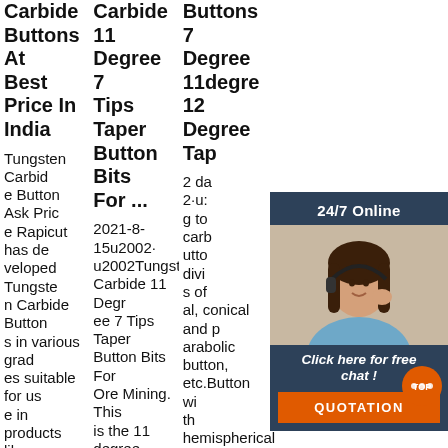Carbide Buttons At Best Price In India
Tungsten Carbide Button Ask Price Rapicut has developed Tungsten Carbide Buttons in various grades suitable for use in products like Down The Hole Drilling Bits, Tricon Rock Roller Bits, Special bits required for under
Carbide 11 Degree 7 Tips Taper Button Bits For ...
2021-8-15u2002·u2002Tungsten Carbide 11 Degree 7 Tips Taper Button Bits For Ore Mining. This is the 11 degree tapered button bit, it adopts superior raw material and advanced technique to manufa
Buttons 7 Degree 11degre 12 Degree Tap
2 days 2·u2002g to carbide buttons divided s of al, conical and parabolic button, etc.Button wi th hemispherical button is for high
[Figure (other): Customer service chat widget with a woman wearing a headset, 24/7 Online label, Click here for free chat text, and QUOTATION button]
[Figure (other): TOP scroll-to-top button with orange circle]